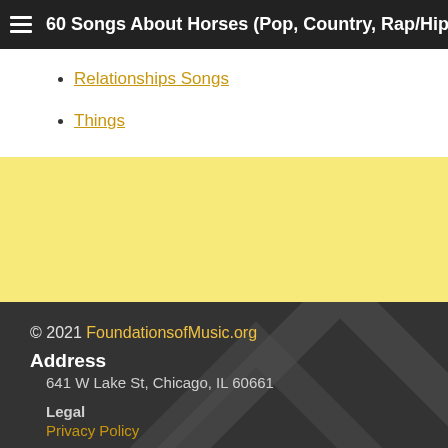60 Songs About Horses (Pop, Country, Rap/Hip Hop & More)
Relationships Songs
Things
© 2021 FoundationsofMusic.org
Address
641 W Lake St, Chicago, IL 60661
Legal
Privacy Policy